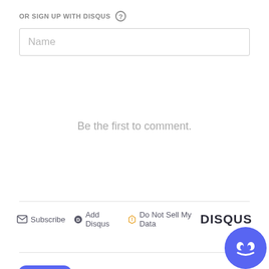OR SIGN UP WITH DISQUS ?
[Figure (screenshot): Name input field (text box with placeholder 'Name')]
Be the first to comment.
Subscribe  Add Disqus  Do Not Sell My Data  DISQUS
[Figure (logo): Discord logo icon (purple rounded square with white ghost/controller face) and DISCORD wordmark in purple, plus Discord floating action button (purple circle with white Discord logo) in bottom right corner]